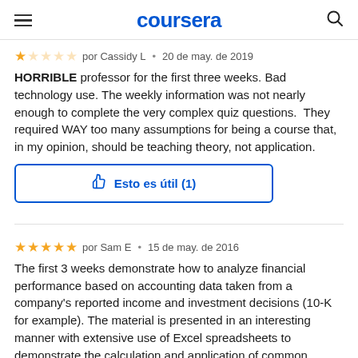coursera
★☆☆☆☆  por Cassidy L  •  20 de may. de 2019
HORRIBLE professor for the first three weeks. Bad technology use. The weekly information was not nearly enough to complete the very complex quiz questions.  They required WAY too many assumptions for being a course that, in my opinion, should be teaching theory, not application.
👍 Esto es útil (1)
★★★★★  por Sam E  •  15 de may. de 2016
The first 3 weeks demonstrate how to analyze financial performance based on accounting data taken from a company's reported income and investment decisions (10-K for example). The material is presented in an interesting manner with extensive use of Excel spreadsheets to demonstrate the calculation and application of common performance metrics and ratios. The test are challenging